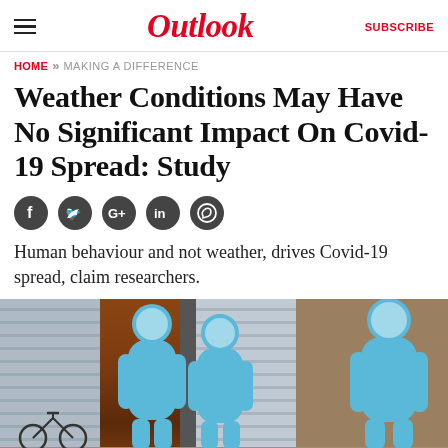Outlook | SUBSCRIBE
HOME » MAKING A DIFFERENCE
Weather Conditions May Have No Significant Impact On Covid-19 Spread: Study
[Figure (other): Social media share icons: Facebook, Twitter, Google+, LinkedIn, WhatsApp]
Human behaviour and not weather, drives Covid-19 spread, claim researchers.
[Figure (photo): Photo of health workers in blue PPE suits walking in front of shuttered shops on a street, with a bicycle visible in the background.]